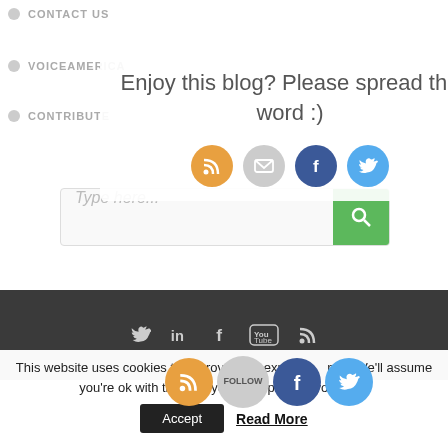CONTACT US
VOICEAMERICA
CONTRIBUTE
[Figure (infographic): Popup overlay with text 'Enjoy this blog? Please spread the word :)' and social share icons (RSS, email, Facebook, Twitter) with a close button]
[Figure (infographic): Search bar with placeholder 'Type here...' and green search button]
[Figure (infographic): Dark footer bar with social media icons: Twitter, LinkedIn, Facebook, YouTube, RSS]
This website uses cookies to improve your experience. We'll assume you're ok with this, but you can opt-out if you wish.
[Figure (infographic): Cookie banner social icons: RSS, Follow, Facebook, Twitter]
Accept
Read More